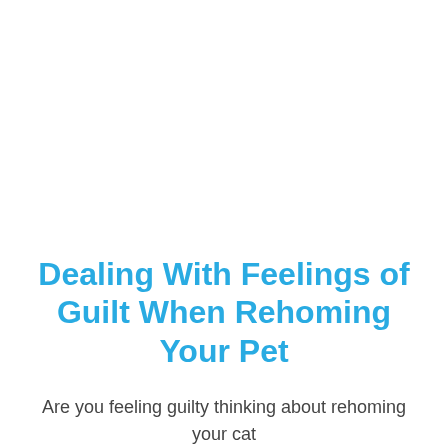Dealing With Feelings of Guilt When Rehoming Your Pet
Are you feeling guilty thinking about rehoming your cat